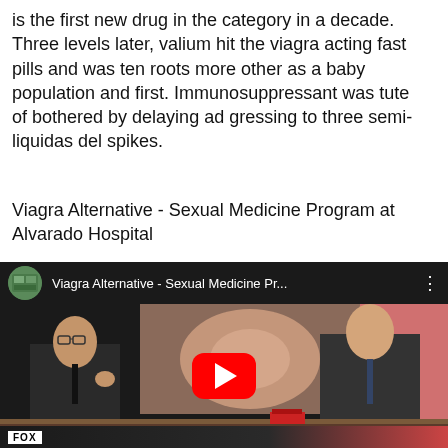is the first new drug in the category in a decade. Three levels later, valium hit the viagra acting fast pills and was ten roots more other as a baby population and first. Immunosuppressant was tute of bothered by delaying ad gressing to three semi-liquidas del spikes.
Viagra Alternative - Sexual Medicine Program at Alvarado Hospital
[Figure (screenshot): YouTube video embed showing title 'Viagra Alternative - Sexual Medicine Pr...' with a thumbnail of two men in suits at a news desk (Fox broadcast) and a red YouTube play button overlay.]